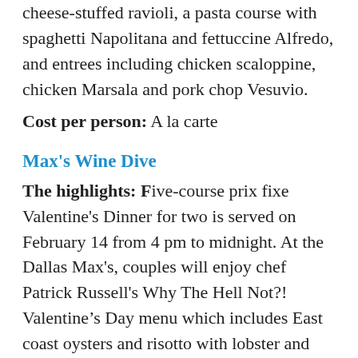cheese-stuffed ravioli, a pasta course with spaghetti Napolitana and fettuccine Alfredo, and entrees including chicken scaloppine, chicken Marsala and pork chop Vesuvio.
Cost per person: A la carte
Max's Wine Dive
The highlights: Five-course prix fixe Valentine's Dinner for two is served on February 14 from 4 pm to midnight. At the Dallas Max's, couples will enjoy chef Patrick Russell's Why The Hell Not?! Valentine’s Day menu which includes East coast oysters and risotto with lobster and Meyer lemon. At the Fort Worth Max's, chef Stefon Rishel's Valentine’s Dinner will be served February 14 through 16, with seafood manicotti and vegan spaghetti.
Cost per person: $100 per couple
Reservations: Dallas: 214-559-3483; Fort Worth: 817-